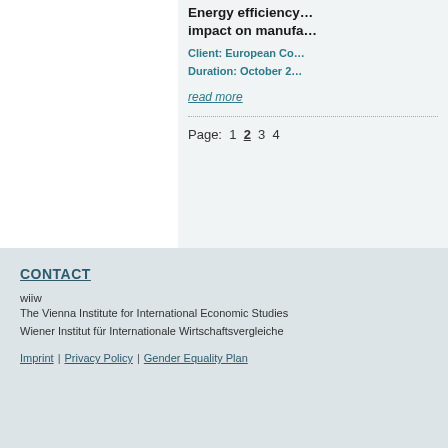Energy efficiency... impact on manufa...
Client: European Co...
Duration: October 2...
read more
Page: 1 2 3 4
CONTACT
wiiw
The Vienna Institute for International Economic Studies
Wiener Institut für Internationale Wirtschaftsvergleiche
Imprint | Privacy Policy | Gender Equality Plan